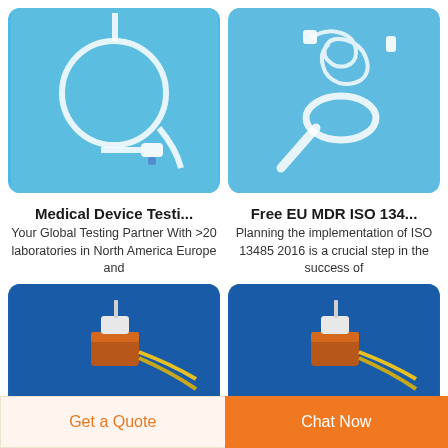[Figure (photo): Medical tube/catheter device on blue background]
[Figure (photo): Coiled medical tubing/device on light blue background]
Medical Device Testi...
Your Global Testing Partner With >20 laboratories in North America Europe and
Free EU MDR ISO 134...
Planning the implementation of ISO 13485 2016 is a crucial step in the success of
[Figure (photo): Medical device with copper coil and yellow cables on dark blue background]
[Figure (photo): Medical device with copper coil and yellow cables on dark blue background]
Get a Quote
Chat Now